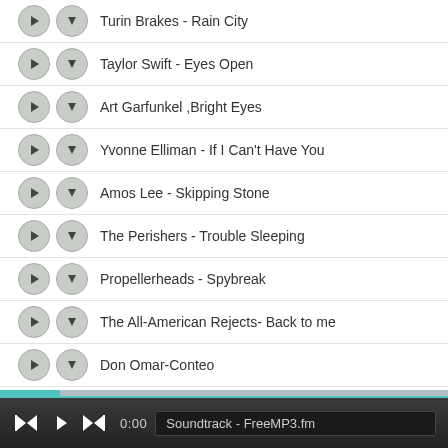Turin Brakes - Rain City
Taylor Swift - Eyes Open
Art Garfunkel ,Bright Eyes
Yvonne Elliman - If I Can't Have You
Amos Lee - Skipping Stone
The Perishers - Trouble Sleeping
Propellerheads - Spybreak
The All-American Rejects- Back to me
Don Omar-Conteo
0:00  Soundtrack - FreeMP3.fm